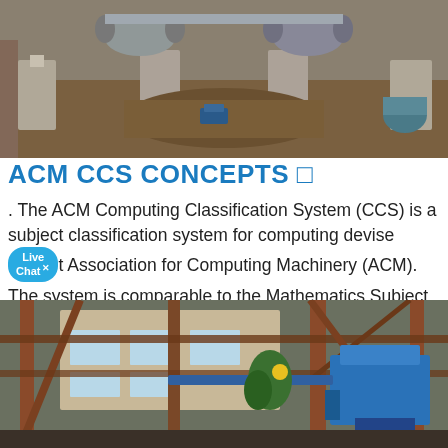[Figure (photo): Aerial view of a construction site with large cylindrical industrial equipment mounted on concrete supports, surrounded by excavated earth and construction machinery.]
ACM CCS CONCEPTS □
. The ACM Computing Classification System (CCS) is a subject classification system for computing devised by the Association for Computing Machinery (ACM). The system is comparable to the Mathematics Subject Classification (MSC) in scope, aims, and structure, being used by the various ACM journals to organise subjects by area.
[Figure (photo): Ground-level view of an industrial facility with rusty metal framework, pipes, and a blue machine or equipment on the right side, with a brick building visible in the background.]